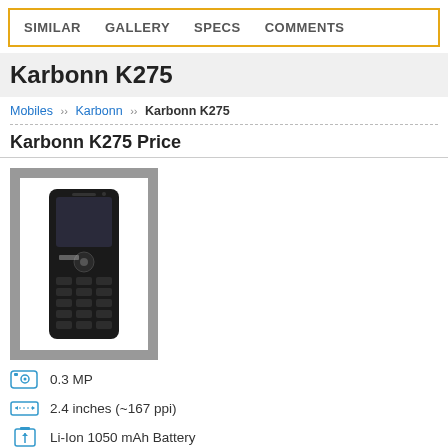SIMILAR  GALLERY  SPECS  COMMENTS
Karbonn K275
Mobiles >> Karbonn >> Karbonn K275
Karbonn K275 Price
[Figure (photo): Photo of Karbonn K275 mobile phone, black feature phone with numeric keypad, shown against a gray bordered frame]
0.3 MP
2.4 inches (~167 ppi)
Li-Ion 1050 mAh Battery